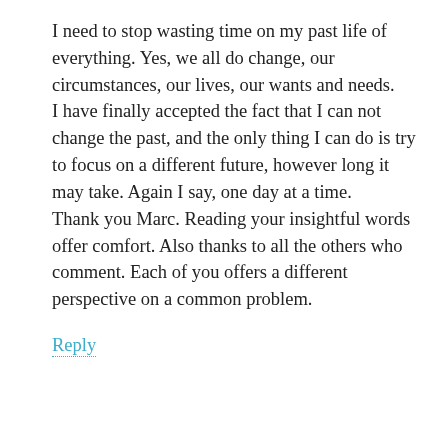I need to stop wasting time on my past life of everything. Yes, we all do change, our circumstances, our lives, our wants and needs.
I have finally accepted the fact that I can not change the past, and the only thing I can do is try to focus on a different future, however long it may take. Again I say, one day at a time.
Thank you Marc. Reading your insightful words offer comfort. Also thanks to all the others who comment. Each of you offers a different perspective on a common problem.
Reply